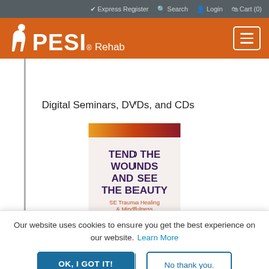✔ Express Register  🔍 Search  👤 Login  🛒 Cart (0)
[Figure (logo): PESI Rehab logo on orange background with hamburger menu icon]
Digital Seminars, DVDs, and CDs
[Figure (photo): Book cover: TEND THE WOUNDS AND SEE THE BEAUTY - SE Trauma Healing & Mindfulness by Jack Kornfield, PhD and Peter Levine, PhD. White cover with orange-red gradient top band and dark maroon bottom band.]
Our website uses cookies to ensure you get the best experience on our website. Learn More
OK, I GOT IT!
No thank you.